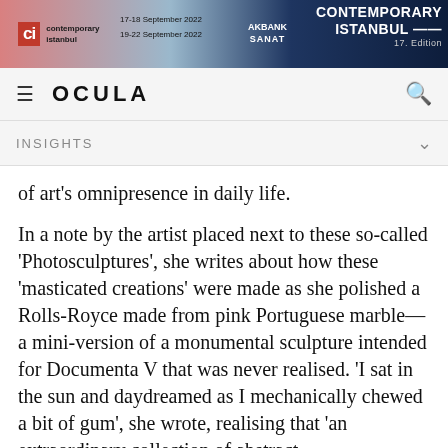[Figure (screenshot): Contemporary Istanbul banner advertisement showing CI logo, dates 17-18 September 2022 and 19-22 September 2022, Akbank Sanat sponsor, and text 'CONTEMPORARY ISTANBUL 17. Edition']
OCULA
INSIGHTS
of art's omnipresence in daily life.
In a note by the artist placed next to these so-called 'Photosculptures', she writes about how these 'masticated creations' were made as she polished a Rolls-Royce made from pink Portuguese marble—a mini-version of a monumental sculpture intended for Documenta V that was never realised. 'I sat in the sun and daydreamed as I mechanically chewed a bit of gum', she wrote, realising that 'an extraordinary collection of abstract